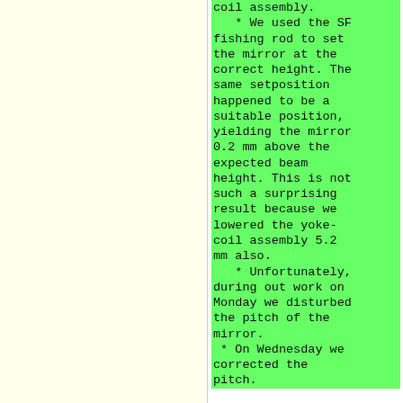coil assembly.
   * We used the SF fishing rod to set the mirror at the correct height. The same setposition happened to be a suitable position, yielding the mirror 0.2 mm above the expected beam height. This is not such a surprising result because we lowered the yoke-coil assembly 5.2 mm also.
* Unfortunately, during out work on Monday we disturbed the pitch of the mirror.
* On Wednesday we corrected the pitch.